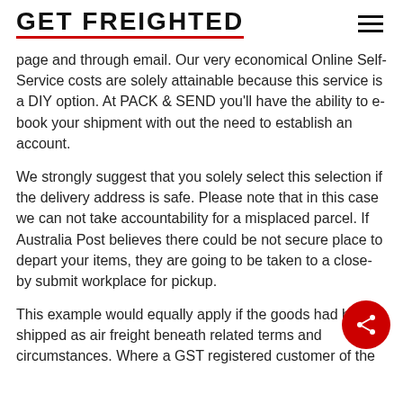GET FREIGHTED
page and through email. Our very economical Online Self-Service costs are solely attainable because this service is a DIY option. At PACK & SEND you'll have the ability to e-book your shipment with out the need to establish an account.
We strongly suggest that you solely select this selection if the delivery address is safe. Please note that in this case we can not take accountability for a misplaced parcel. If Australia Post believes there could be not secure place to depart your items, they are going to be taken to a close-by submit workplace for pickup.
This example would equally apply if the goods had been shipped as air freight beneath related terms and circumstances. Where a GST registered customer of the